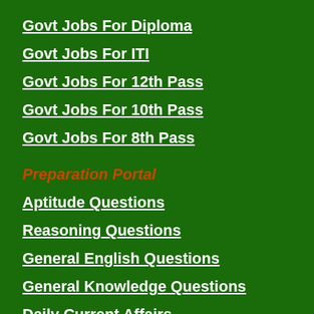Govt Jobs For Diploma
Govt Jobs For ITI
Govt Jobs For 12th Pass
Govt Jobs For 10th Pass
Govt Jobs For 8th Pass
Preparation Portal
Aptitude Questions
Reasoning Questions
General English Questions
General Knowledge Questions
Daily Current Affairs
Free Online Tests